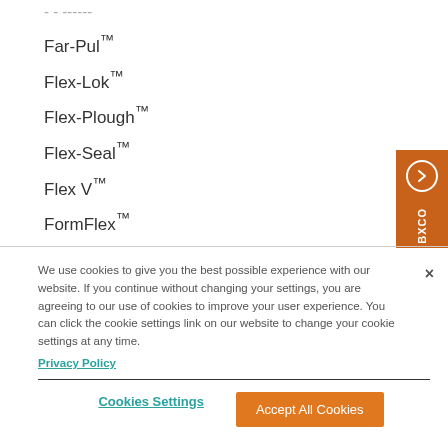Far-Pul™
Flex-Lok™
Flex-Plough™
Flex-Seal™
Flex V™
FormFlex™
FSK™
G-Series™
Gator™
We use cookies to give you the best possible experience with our website. If you continue without changing your settings, you are agreeing to our use of cookies to improve your user experience. You can click the cookie settings link on our website to change your cookie settings at any time.
Privacy Policy
Cookies Settings
Accept All Cookies